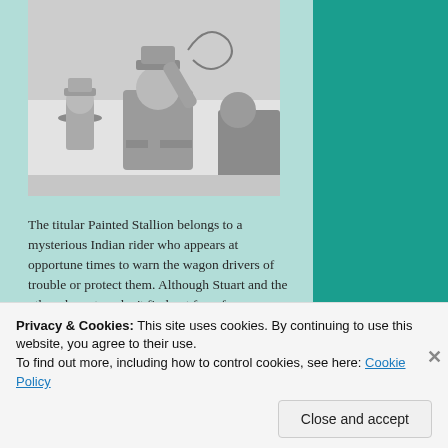[Figure (photo): Black and white film still showing a man in a cowboy hat with arm raised holding a rope, with another figure in the background wearing a hat.]
The titular Painted Stallion belongs to a mysterious Indian rider who appears at opportune times to warn the wagon drivers of trouble or protect them. Although Stuart and the other characters don't find out for a few chapters, the Rider is a beautiful blonde woman (Julia Thayer) wearing a feathered chief's headdress; appearing on the top of a ridge...
Privacy & Cookies: This site uses cookies. By continuing to use this website, you agree to their use.
To find out more, including how to control cookies, see here: Cookie Policy